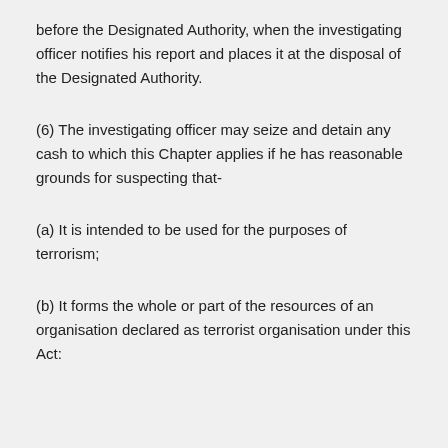before the Designated Authority, when the investigating officer notifies his report and places it at the disposal of the Designated Authority.
(6) The investigating officer may seize and detain any cash to which this Chapter applies if he has reasonable grounds for suspecting that-
(a) It is intended to be used for the purposes of terrorism;
(b) It forms the whole or part of the resources of an organisation declared as terrorist organisation under this Act: